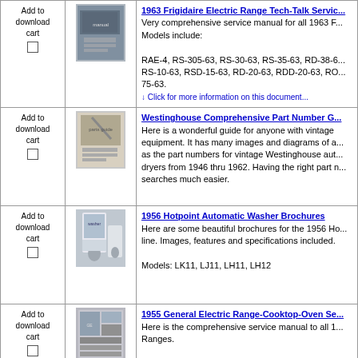| Cart | Image | Description |
| --- | --- | --- |
| Add to download cart [checkbox] | [thumbnail] | 1963 Frigidaire Electric Range Tech-Talk Servic...
Very comprehensive service manual for all 1963 F...
Models include:
RAE-4, RS-305-63, RS-30-63, RS-35-63, RD-38-6...
RS-10-63, RSD-15-63, RD-20-63, RDD-20-63, RO... 75-63.
↓ Click for more information on this document... |
| Add to download cart [checkbox] | [thumbnail] | Westinghouse Comprehensive Part Number G...
Here is a wonderful guide for anyone with vintage equipment. It has many images and diagrams of a... as the part numbers for vintage Westinghouse aut... dryers from 1946 thru 1962. Having the right part n... searches much easier. |
| Add to download cart [checkbox] | [thumbnail] | 1956 Hotpoint Automatic Washer Brochures
Here are some beautiful brochures for the 1956 Ho... line. Images, features and specifications included.
Models: LK11, LJ11, LH11, LH12 |
| Add to download cart [checkbox] | [thumbnail] | 1955 General Electric Range-Cooktop-Oven Se...
Here is the comprehensive service manual to all 1... Ranges.
M line (1955) models include: J244M, J245M, J24... |